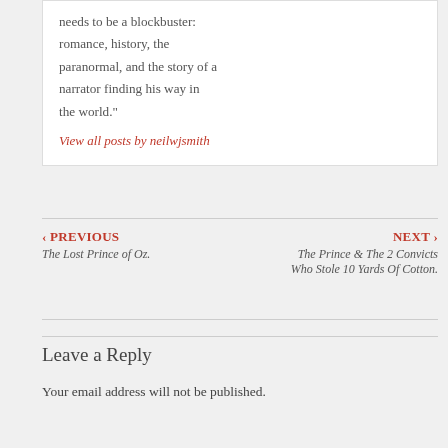needs to be a blockbuster: romance, history, the paranormal, and the story of a narrator finding his way in the world."
View all posts by neilwjsmith
‹ PREVIOUS
The Lost Prince of Oz.
NEXT ›
The Prince & The 2 Convicts Who Stole 10 Yards Of Cotton.
Leave a Reply
Your email address will not be published.